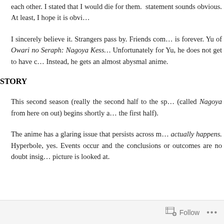each other. I stated that I would die for them. statement sounds obvious. At least, I hope it is obvi…
I sincerely believe it. Strangers pass by. Friends com… is forever. Yu of Owari no Seraph: Nagoya Kess… Unfortunately for Yu, he does not get to have c… Instead, he gets an almost abysmal anime.
STORY
This second season (really the second half to the sp… (called Nagoya from here on out) begins shortly a… the first half).
The anime has a glaring issue that persists across m… actually happens. Hyperbole, yes. Events occur and the conclusions or outcomes are no doubt insig… picture is looked at.
Follow   ...